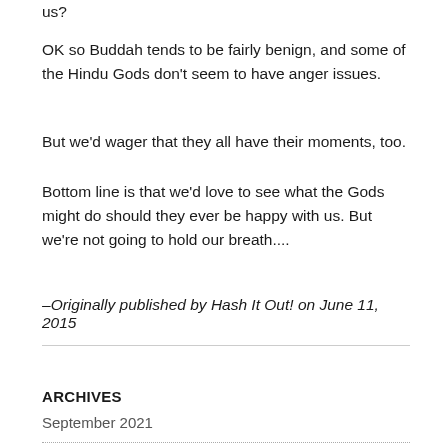us?
OK so Buddah tends to be fairly benign, and some of the Hindu Gods don't seem to have anger issues.
But we'd wager that they all have their moments, too.
Bottom line is that we'd love to see what the Gods might do should they ever be happy with us. But we're not going to hold our breath....
–Originally published by Hash It Out! on June 11, 2015
ARCHIVES
September 2021